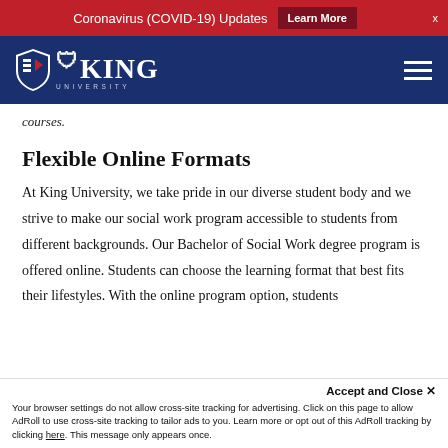Coronavirus (COVID-19) Updates  Learn More  X
[Figure (logo): King University logo with shield icon and university name on dark blue navigation bar with hamburger menu icon]
courses.
Flexible Online Formats
At King University, we take pride in our diverse student body and we strive to make our social work program accessible to students from different backgrounds. Our Bachelor of Social Work degree program is offered online. Students can choose the learning format that best fits their lifestyles. With the online program option, students
Accept and Close ✕
Your browser settings do not allow cross-site tracking for advertising. Click on this page to allow AdRoll to use cross-site tracking to tailor ads to you. Learn more or opt out of this AdRoll tracking by clicking here. This message only appears once.